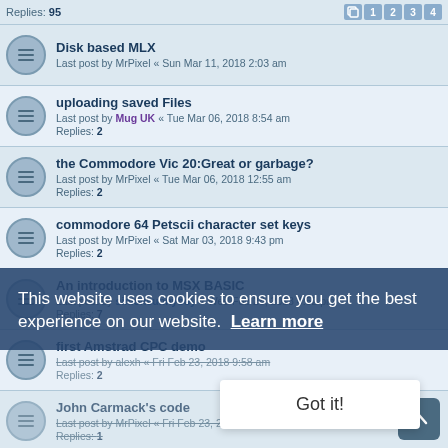Replies: 95 [pagination: 1 2 3 4]
Disk based MLX
Last post by MrPixel « Sun Mar 11, 2018 2:03 am
uploading saved Files
Last post by Mug UK « Tue Mar 06, 2018 8:54 am
Replies: 2
the Commodore Vic 20:Great or garbage?
Last post by MrPixel « Tue Mar 06, 2018 12:55 am
Replies: 2
commodore 64 Petscii character set keys
Last post by MrPixel « Sat Mar 03, 2018 9:43 pm
Replies: 2
An introduction to MSX BASIC
Last post by simonsunnyboy « Wed Feb 28, 2018 4:52 pm
Replies: 7
first Amstrad CPC demo
Last post by alexh « Fri Feb 23, 2018 9:58 am
Replies: 2
John Carmack's code
Last post by MrPixel « Fri Feb 23, 2018 3:06 am
Replies: 1
Bioshock for the 2600-7800
Last post by MrPixel « Fri Feb 23, 2018 3:06 am
Replies: 3
Just made a new ZX spectrum game (48k)
Last post by MrPixel « Sun Feb 18, 2018 1:54 am
Replies: 13
This website uses cookies to ensure you get the best experience on our website. Learn more
Got it!